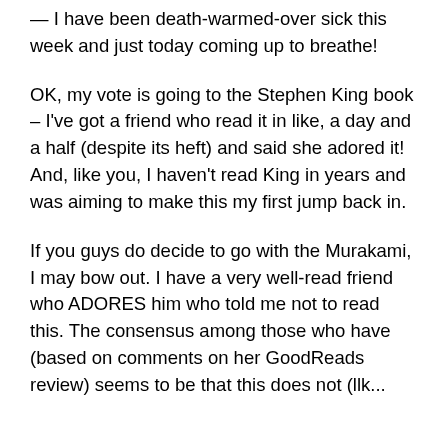— I have been death-warmed-over sick this week and just today coming up to breathe!
OK, my vote is going to the Stephen King book – I've got a friend who read it in like, a day and a half (despite its heft) and said she adored it! And, like you, I haven't read King in years and was aiming to make this my first jump back in.
If you guys do decide to go with the Murakami, I may bow out. I have a very well-read friend who ADORES him who told me not to read this. The consensus among those who have (based on comments on her GoodReads review) seems to be that this does not...